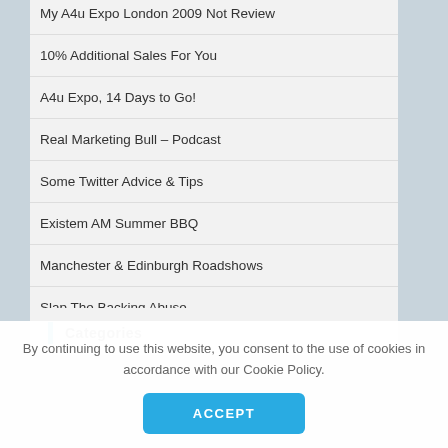My A4u Expo London 2009 Not Review
10% Additional Sales For You
A4u Expo, 14 Days to Go!
Real Marketing Bull – Podcast
Some Twitter Advice & Tips
Existem AM Summer BBQ
Manchester & Edinburgh Roadshows
Slap The Backing Abuse
Categories
By continuing to use this website, you consent to the use of cookies in accordance with our Cookie Policy.
ACCEPT